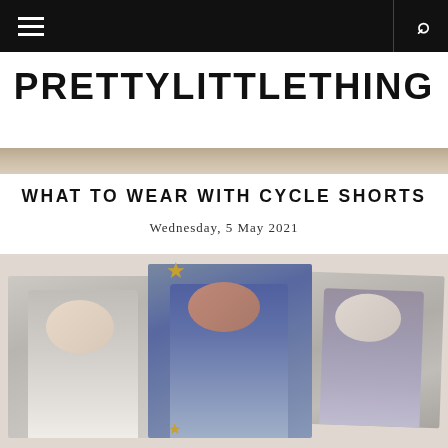PRETTYLITTLETHING
[Figure (photo): Partial hero banner image strip at top of article]
WHAT TO WEAR WITH CYCLE SHORTS
Wednesday, 5 May 2021
[Figure (photo): Fashion collage showing three models wearing cycle shorts outfits — left: blonde woman in grey oversized top, center: woman in graphic tee and blue cycle shorts, right: woman in mauve matching set with white bag]